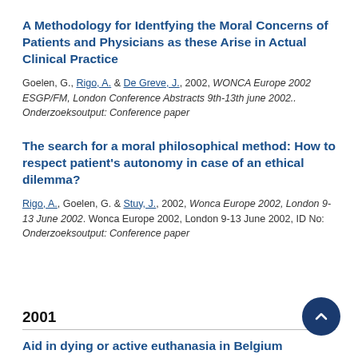A Methodology for Identfying the Moral Concerns of Patients and Physicians as these Arise in Actual Clinical Practice
Goelen, G., Rigo, A. & De Greve, J., 2002, WONCA Europe 2002 ESGP/FM, London Conference Abstracts 9th-13th june 2002.. Onderzoeksoutput: Conference paper
The search for a moral philosophical method: How to respect patient's autonomy in case of an ethical dilemma?
Rigo, A., Goelen, G. & Stuy, J., 2002, Wonca Europe 2002, London 9-13 June 2002. Wonca Europe 2002, London 9-13 June 2002, ID No: Onderzoeksoutput: Conference paper
2001
Aid in dying or active euthanasia in Belgium